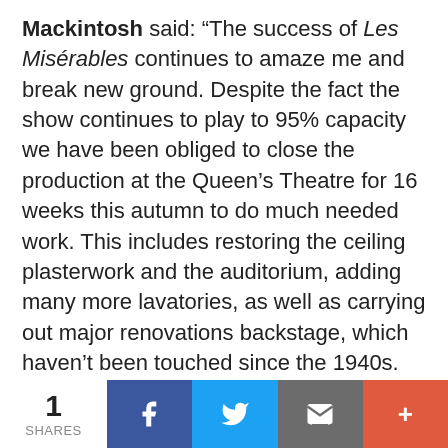Mackintosh said: “The success of Les Misérables continues to amaze me and break new ground. Despite the fact the show continues to play to 95% capacity we have been obliged to close the production at the Queen’s Theatre for 16 weeks this autumn to do much needed work. This includes restoring the ceiling plasterwork and the auditorium, adding many more lavatories, as well as carrying out major renovations backstage, which haven’t been touched since the 1940s. The theatre was heavily damaged during World War II and has never been properly restored and brought up to modern
1 SHARES | Facebook | Twitter | Email | More